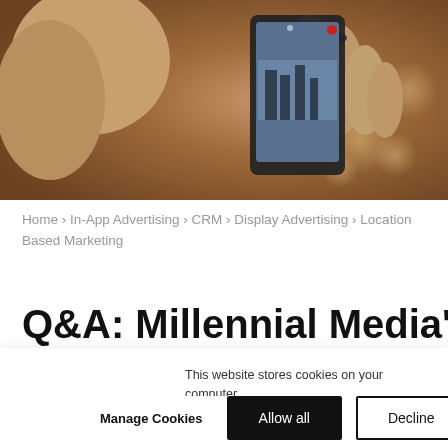[Figure (photo): A person holding up a smartphone to record video, seen from behind, with bokeh background lighting.]
Home › In-App Advertising › CRM › Display Advertising › Location Based Marketing
O&A: Millennial Media's Zac
This website stores cookies on your computer. These cookies are used to improve your website experience and provide more personalised services to you, both on this website and through other media. To find out more about the cookies we use, see our privacy policy.
Manage Cookies  Allow all  Decline